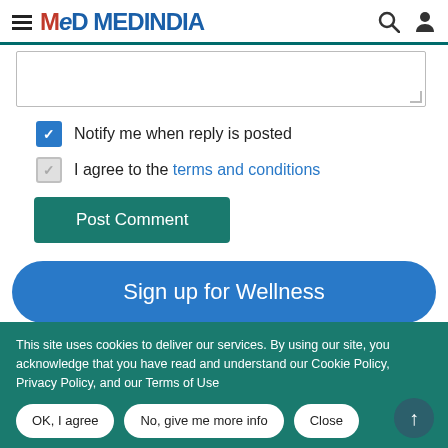MEDINDIA
Notify me when reply is posted
I agree to the terms and conditions
Post Comment
Sign up for Wellness
This site uses cookies to deliver our services. By using our site, you acknowledge that you have read and understand our Cookie Policy, Privacy Policy, and our Terms of Use
OK, I agree | No, give me more info | Close